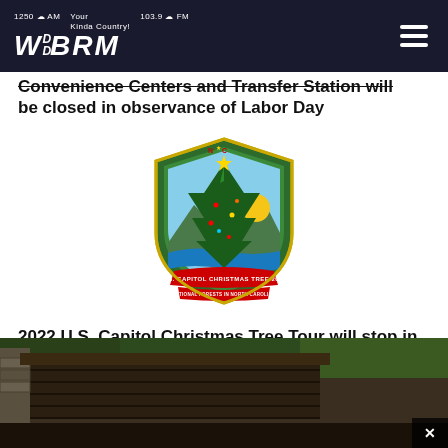WBRM 1250 AM / 103.9 FM — Your Kinda Country!
Convenience Centers and Transfer Station will be closed in observance of Labor Day
[Figure (logo): U.S. Capitol Christmas Tree 2022, National Forests in North Carolina — shield-shaped logo with Christmas tree, mountains, and sun]
2022 U.S. Capitol Christmas Tree Tour will stop in Marion Nov 7
[Figure (photo): Photograph of a rustic log cabin structure with stone chimney surrounded by trees]